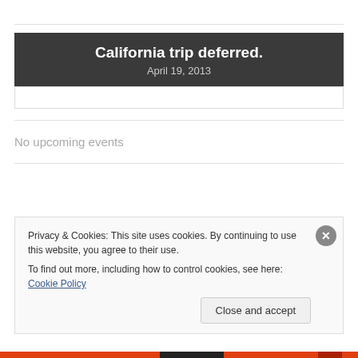California trip deferred.
April 19, 2013
No upcoming events
Privacy & Cookies: This site uses cookies. By continuing to use this website, you agree to their use.
To find out more, including how to control cookies, see here: Cookie Policy
Close and accept